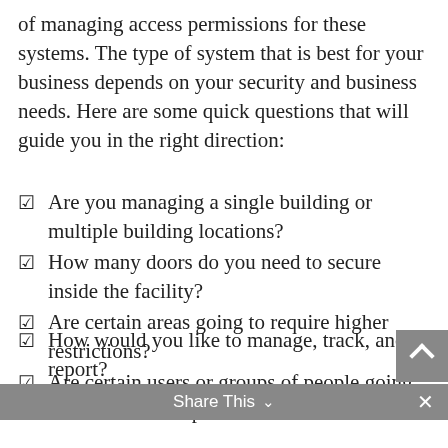of managing access permissions for these systems. The type of system that is best for your business depends on your security and business needs. Here are some quick questions that will guide you in the right direction:
☑ Are you managing a single building or multiple building locations?
☑ How many doors do you need to secure inside the facility?
☑ Are certain areas going to require higher restrictions?
☑ Are certain users or groups of people going to need different permissions?
☑ How would you like to manage, track, and report?